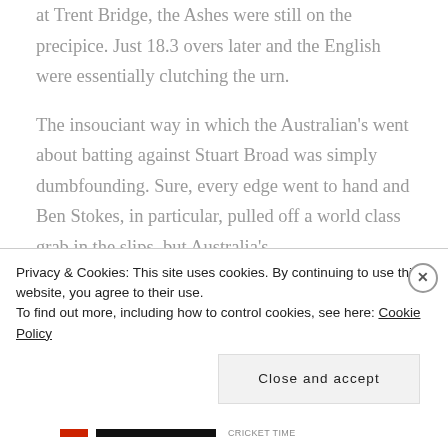at Trent Bridge, the Ashes were still on the precipice. Just 18.3 overs later and the English were essentially clutching the urn.
The insouciant way in which the Australian's went about batting against Stuart Broad was simply dumbfounding. Sure, every edge went to hand and Ben Stokes, in particular, pulled off a world class grab in the slips, but Australia's
Privacy & Cookies: This site uses cookies. By continuing to use this website, you agree to their use.
To find out more, including how to control cookies, see here: Cookie Policy
Close and accept